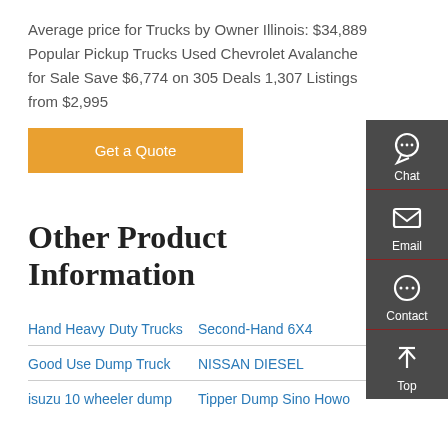Average price for Trucks by Owner Illinois: $34,889 Popular Pickup Trucks Used Chevrolet Avalanche for Sale Save $6,774 on 305 Deals 1,307 Listings from $2,995
Get a Quote
Other Product Information
Hand Heavy Duty Trucks
Second-Hand 6X4
Good Use Dump Truck
NISSAN DIESEL
isuzu 10 wheeler dump
Tipper Dump Sino Howo